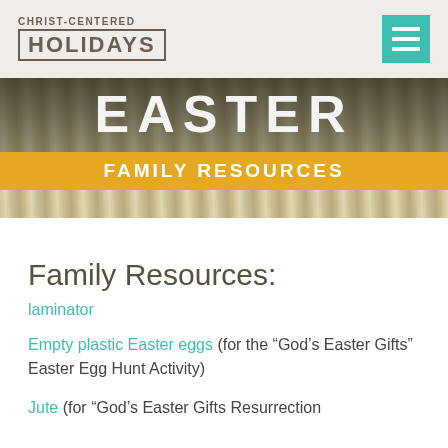CHRIST-CENTERED HOLIDAYS
[Figure (photo): Easter Family Resources banner with open Bible background, large EASTER text, and golden yellow ribbon reading FAMILY RESOURCES]
Family Resources:
laminator
Empty plastic Easter eggs (for the “God’s Easter Gifts” Easter Egg Hunt Activity)
Jute (for “God’s Easter Gifts Resurrection